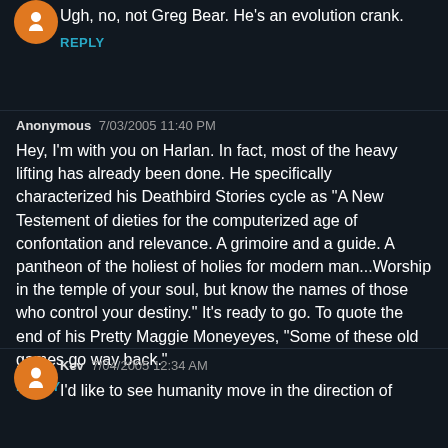Ugh, no, not Greg Bear. He's an evolution crank.
REPLY
Anonymous  7/03/2005 11:40 PM
Hey, I'm with you on Harlan. In fact, most of the heavy lifting has already been done. He specifically characterized his Deathbird Stories cycle as "A New Testement of dieties for the computerized age of confontation and relevance. A grimoire and a guide. A pantheon of the holiest of holies for modern man...Worship in the temple of your soul, but know the names of those who control your destiny." It's ready to go. To quote the end of his Pretty Maggie Moneyeyes, "Some of these old games go way back."
REPLY
Kev  7/04/2005 12:34 AM
I'd like to see humanity move in the direction of